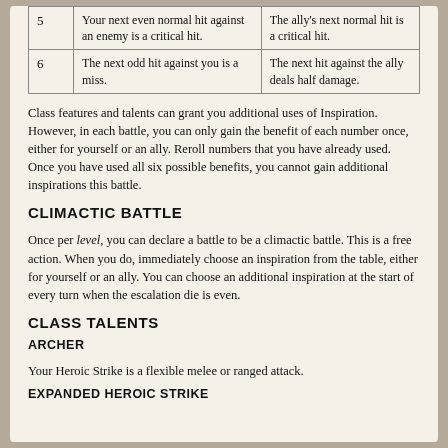| # | Self benefit | Ally benefit |
| --- | --- | --- |
| 5 | Your next even normal hit against an enemy is a critical hit. | The ally's next normal hit is a critical hit. |
| 6 | The next odd hit against you is a miss. | The next hit against the ally deals half damage. |
Class features and talents can grant you additional uses of Inspiration. However, in each battle, you can only gain the benefit of each number once, either for yourself or an ally. Reroll numbers that you have already used. Once you have used all six possible benefits, you cannot gain additional inspirations this battle.
CLIMACTIC BATTLE
Once per level, you can declare a battle to be a climactic battle. This is a free action. When you do, immediately choose an inspiration from the table, either for yourself or an ally. You can choose an additional inspiration at the start of every turn when the escalation die is even.
CLASS TALENTS
ARCHER
Your Heroic Strike is a flexible melee or ranged attack.
EXPANDED HEROIC STRIKE